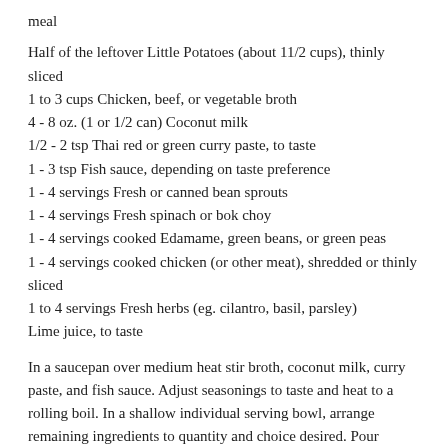meal
Half of the leftover Little Potatoes (about 11/2 cups), thinly sliced
1 to 3 cups Chicken, beef, or vegetable broth
4 - 8 oz. (1 or 1/2 can) Coconut milk
1/2 - 2 tsp Thai red or green curry paste, to taste
1 - 3 tsp Fish sauce, depending on taste preference
1 - 4 servings Fresh or canned bean sprouts
1 - 4 servings Fresh spinach or bok choy
1 - 4 servings cooked Edamame, green beans, or green peas
1 - 4 servings cooked chicken (or other meat), shredded or thinly sliced
1 to 4 servings Fresh herbs (eg. cilantro, basil, parsley)
Lime juice, to taste
In a saucepan over medium heat stir broth, coconut milk, curry paste, and fish sauce. Adjust seasonings to taste and heat to a rolling boil. In a shallow individual serving bowl, arrange remaining ingredients to quantity and choice desired. Pour boiling broth over each bowl ingredients and garnish with herbs and a drizzle of lime juice. Serve immediately.